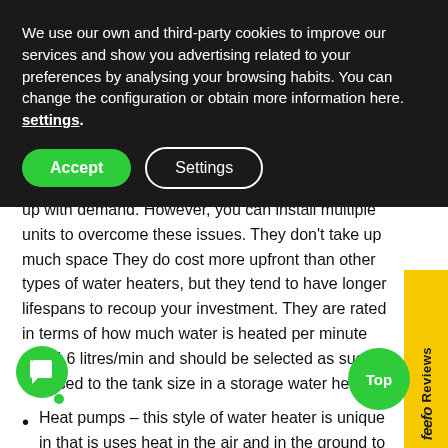We use our own and third-party cookies to improve our services and show you advertising related to your preferences by analysing your browsing habits. You can change the configuration or obtain more information here. settings.
Accept | Settings
up with demand. However, you can install multiple units to overcome these issues. They don't take up much space They do cost more upfront than other types of water heaters, but they tend to have longer lifespans to recoup your investment. They are rated in terms of how much water is heated per minute e.g. 4.6 litres/min and should be selected as such opposed to the tank size in a storage water hea
Heat pumps – this style of water heater is unique in that is uses heat in the air and in the ground to heat ter. This means that electricity is only used to ve heat from the ground or air to the water, making them very energy efficient. Heat pumps can